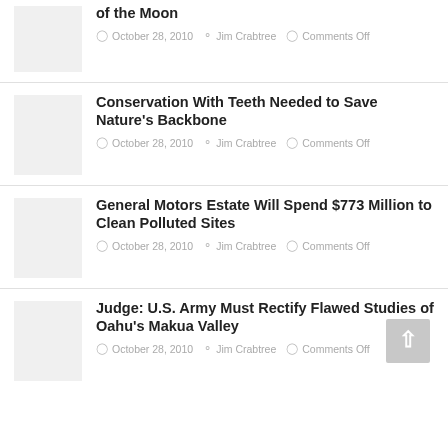[Figure (photo): Thumbnail image placeholder, light gray]
of the Moon
October 28, 2010  Jim Crabtree  Comments Off
[Figure (photo): Thumbnail image placeholder, light gray]
Conservation With Teeth Needed to Save Nature's Backbone
October 28, 2010  Jim Crabtree  Comments Off
[Figure (photo): Thumbnail image placeholder, light gray]
General Motors Estate Will Spend $773 Million to Clean Polluted Sites
October 28, 2010  Jim Crabtree  Comments Off
[Figure (photo): Thumbnail image placeholder, light gray]
Judge: U.S. Army Must Rectify Flawed Studies of Oahu's Makua Valley
October 28, 2010  Jim Crabtree  Comments Off